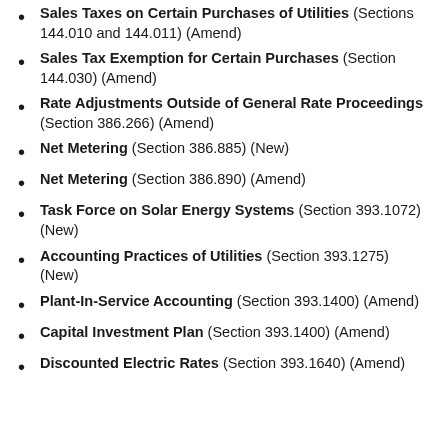Sales Taxes on Certain Purchases of Utilities (Sections 144.010 and 144.011) (Amend)
Sales Tax Exemption for Certain Purchases (Section 144.030) (Amend)
Rate Adjustments Outside of General Rate Proceedings (Section 386.266) (Amend)
Net Metering (Section 386.885) (New)
Net Metering (Section 386.890) (Amend)
Task Force on Solar Energy Systems (Section 393.1072) (New)
Accounting Practices of Utilities (Section 393.1275) (New)
Plant-In-Service Accounting (Section 393.1400) (Amend)
Capital Investment Plan (Section 393.1400) (Amend)
Discounted Electric Rates (Section 393.1640) (Amend)